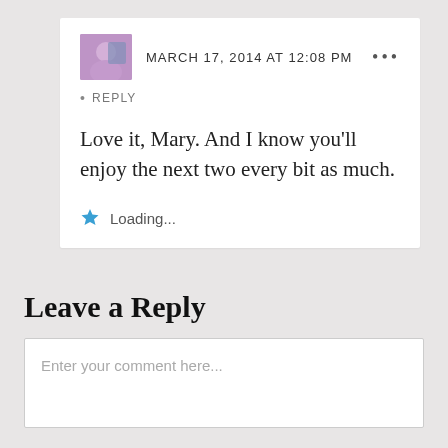MARCH 17, 2014 AT 12:08 PM
REPLY
Love it, Mary. And I know you’ll enjoy the next two every bit as much.
Loading...
Leave a Reply
Enter your comment here...